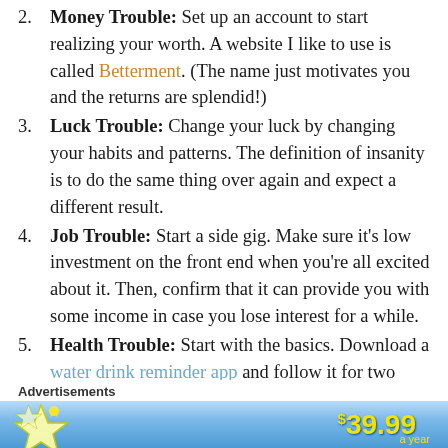2. Money Trouble: Set up an account to start realizing your worth. A website I like to use is called Betterment. (The name just motivates you and the returns are splendid!)
3. Luck Trouble: Change your luck by changing your habits and patterns. The definition of insanity is to do the same thing over again and expect a different result.
4. Job Trouble: Start a side gig. Make sure it's low investment on the front end when you're all excited about it. Then, confirm that it can provide you with some income in case you lose interest for a while.
5. Health Trouble: Start with the basics. Download a water drink reminder app and follow it for two consecutive days and see how you feel.
[Figure (screenshot): Advertisement banner with blue gradient background, star graphic, and price $39.99 a year text in yellow]